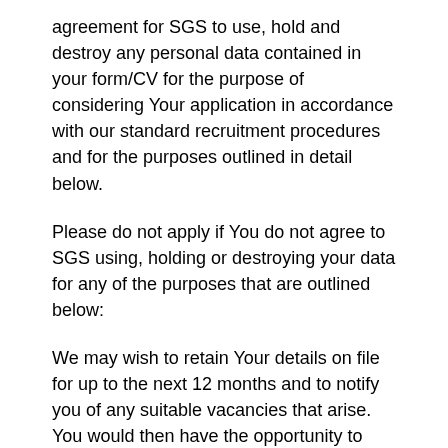agreement for SGS to use, hold and destroy any personal data contained in your form/CV for the purpose of considering Your application in accordance with our standard recruitment procedures and for the purposes outlined in detail below.
Please do not apply if You do not agree to SGS using, holding or destroying your data for any of the purposes that are outlined below:
We may wish to retain Your details on file for up to the next 12 months and to notify you of any suitable vacancies that arise. You would then have the opportunity to apply for these vacancies if You wished to do so.
We may use Your personal information for purposes of market research, specifically relating to the improvement of recruitment and HR policies and